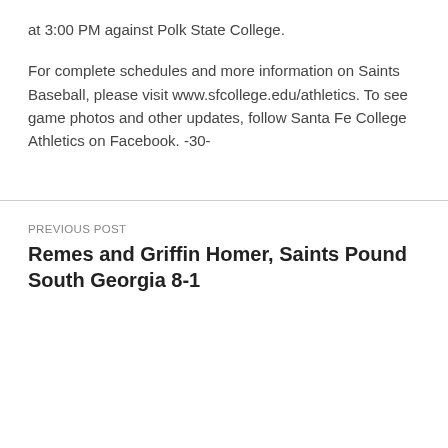at 3:00 PM against Polk State College.
For complete schedules and more information on Saints Baseball, please visit www.sfcollege.edu/athletics. To see game photos and other updates, follow Santa Fe College Athletics on Facebook. -30-
PREVIOUS POST
Remes and Griffin Homer, Saints Pound South Georgia 8-1